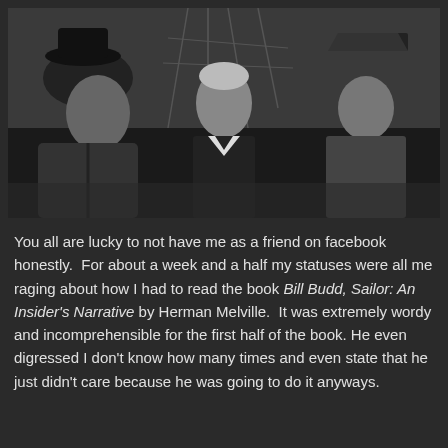[Figure (photo): Black and white film still showing three people: on the left a heavyset older man wearing a dark hat and coat, in the center a young blond man in a dark jacket with a white collar, and on the right a shorter figure wearing a bicorne/Napoleon-style hat. They appear to be on a ship deck with rigging visible in the background.]
You all are lucky to not have me as a friend on facebook honestly.  For about a week and a half my statuses were all me raging about how I had to read the book Bill Budd, Sailor: An Insider's Narrative by Herman Melville.  It was extremely wordy and incomprehensible for the first half of the book. He even digressed I don't know how many times and even state that he just didn't care because he was going to do it anyways.